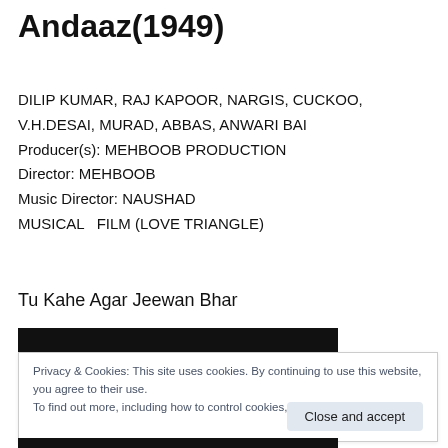Andaaz(1949)
DILIP KUMAR, RAJ KAPOOR, NARGIS, CUCKOO, V.H.DESAI, MURAD, ABBAS, ANWARI BAI
Producer(s): MEHBOOB PRODUCTION
Director: MEHBOOB
Music Director: NAUSHAD
MUSICAL  FILM (LOVE TRIANGLE)
Tu Kahe Agar Jeewan Bhar
Privacy & Cookies: This site uses cookies. By continuing to use this website, you agree to their use.
To find out more, including how to control cookies, see here: Cookie Policy